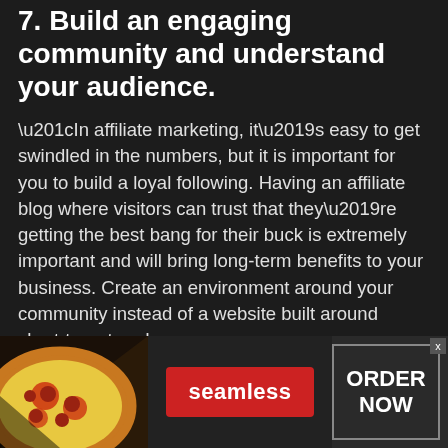7. Build an engaging community and understand your audience.
“In affiliate marketing, it’s easy to get swindled in the numbers, but it is important for you to build a loyal following. Having an affiliate blog where visitors can trust that they’re getting the best bang for their buck is extremely important and will bring long-term benefits to your business. Create an environment around your community instead of a website built around short-term trends.
Focus on creating content with the community and for the community. As the viewers build trust in what they’re reading, they will return with more
[Figure (screenshot): Advertisement banner for Seamless food delivery. Shows pizza image on left, red Seamless button in center, and ORDER NOW button on right with an X close button.]